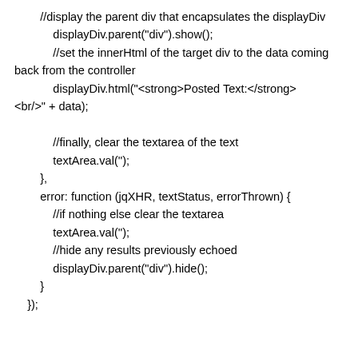//display the parent div that encapsulates the displayDiv
            displayDiv.parent("div").show();
            //set the innerHtml of the target div to the data coming back from the controller
            displayDiv.html("<strong>Posted Text:</strong><br/>" + data);

            //finally, clear the textarea of the text
            textArea.val('');
        },
        error: function (jqXHR, textStatus, errorThrown) {
            //if nothing else clear the textarea
            textArea.val('');
            //hide any results previously echoed
            displayDiv.parent("div").hide();
        }
    });